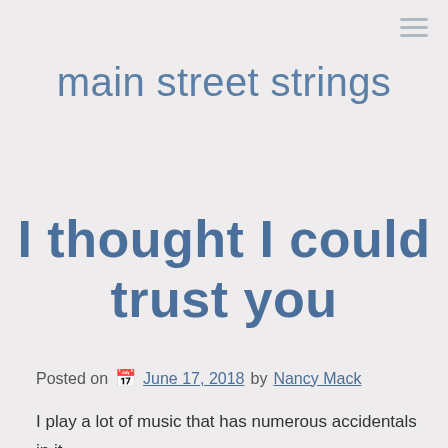main street strings
I thought I could trust you
Posted on June 17, 2018 by Nancy Mack
I play a lot of music that has numerous accidentals in it. Popper etudes, for example, are loaded with them .  In